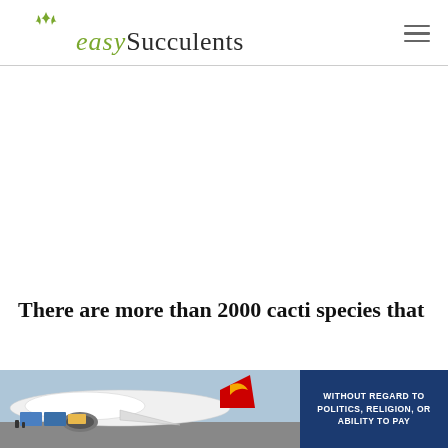easy Succulents
[Figure (other): Large white advertisement/blank space area]
There are more than 2000 cacti species that
[Figure (photo): Bottom advertisement showing an airplane being loaded with cargo, with colorful livery; overlay panel on right reads WITHOUT REGARD TO POLITICS, RELIGION, OR ABILITY TO PAY]